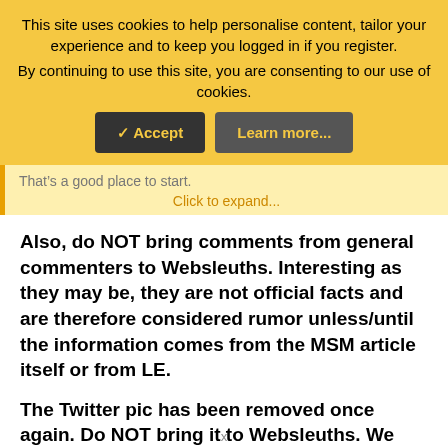This site uses cookies to help personalise content, tailor your experience and to keep you logged in if you register. By continuing to use this site, you are consenting to our use of cookies.
Accept | Learn more...
That’s a good place to start.
Click to expand...
Also, do NOT bring comments from general commenters to Websleuths. Interesting as they may be, they are not official facts and are therefore considered rumor unless/until the information comes from the MSM article itself or from LE.
The Twitter pic has been removed once again. Do NOT bring it to Websleuths. We have no idea of the origin and how it may have been manipulated.:tyou: